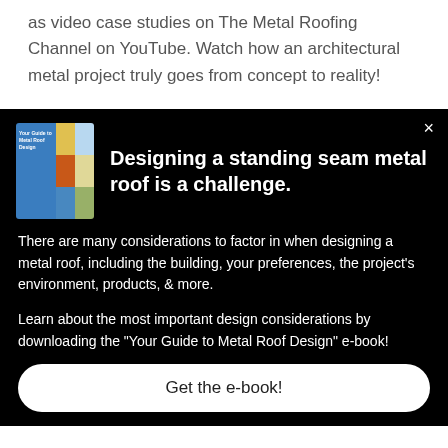as video case studies on The Metal Roofing Channel on YouTube. Watch how an architectural metal project truly goes from concept to reality!
[Figure (other): Black promotional panel with book thumbnail image showing 'Your Guide to Metal Roof Design', close button (×), bold headline 'Designing a standing seam metal roof is a challenge.', body text about design considerations, and a 'Get the e-book!' call-to-action button.]